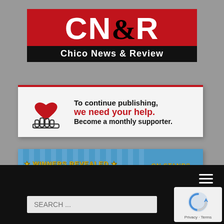[Figure (logo): CN&R Chico News & Review logo. Red background with white block letters CN&R and black ampersand, black bar below with white text 'Chico News & Review']
[Figure (infographic): Support banner: white/light gray card with red top border. Heart and open hand icon on left. Text: 'To continue publishing, we need your help. Become a monthly supporter.']
[Figure (infographic): Best of Chico 2022 promotional banner. Blue background with light stripes. Yellow outlined text 'WINNERS REVEALED', large white outlined red text 'BEST OF CHICO', right side reads 'ON STANDS SEPT. 1, 2022']
[Figure (screenshot): Website footer area: black navigation bar with hamburger menu icon, search bar with placeholder 'SEARCH...', and reCAPTCHA badge with 'Privacy - Terms' text]